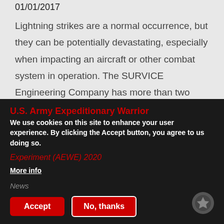01/01/2017
Lightning strikes are a normal occurrence, but they can be potentially devastating, especially when impacting an aircraft or other combat system in operation. The SURVICE Engineering Company has more than two decades of experience and capability in...
U.S. Army Expeditionary Warrior
Experiment (AEWE) 2020
We use cookies on this site to enhance your user experience. By clicking the Accept button, you agree to us doing so.
More info
News
Accept
No, thanks